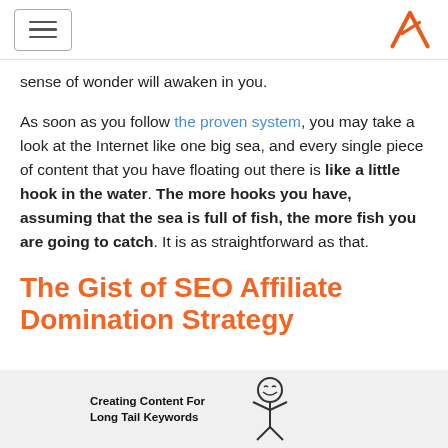[hamburger menu] [logo A]
sense of wonder will awaken in you.
As soon as you follow the proven system, you may take a look at the Internet like one big sea, and every single piece of content that you have floating out there is like a little hook in the water. The more hooks you have, assuming that the sea is full of fish, the more fish you are going to catch. It is as straightforward as that.
The Gist of SEO Affiliate Domination Strategy
[Figure (illustration): Stick figure illustration with text 'Creating Content For Long Tail Keywords' on a gray background]